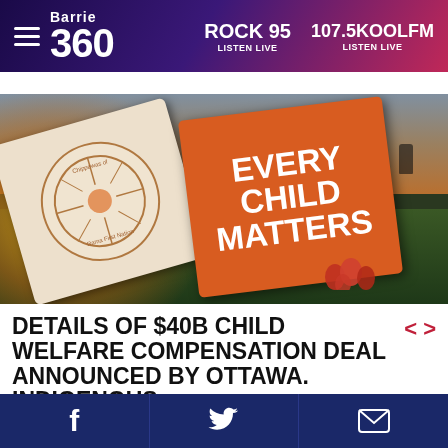Barrie 360 | ROCK 95 LISTEN LIVE | 107.5KOOLFM LISTEN LIVE
[Figure (photo): A sign on grass reading EVERY CHILD MATTERS in white text on an orange background, alongside a white circular sign for Chippewas of Rama First Nation. Red flowers visible in the foreground. A person silhouetted in background near water.]
DETAILS OF $40B CHILD WELFARE COMPENSATION DEAL ANNOUNCED BY OTTAWA. INDIGENOUS
Facebook share | Twitter share | Email share